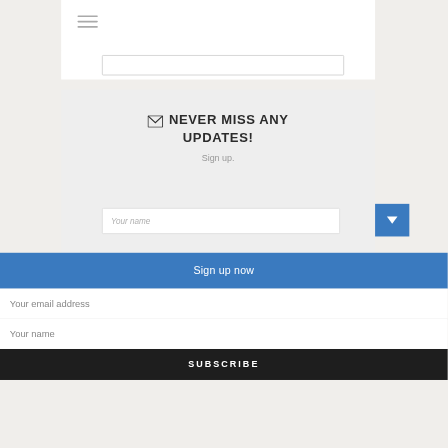[Figure (screenshot): Website screenshot showing a navigation bar with hamburger menu icon at top, a search input box, a newsletter signup widget with envelope icon and title 'NEVER MISS ANY UPDATES!' and subtitle 'Sign up.', a name input field, a blue dropdown arrow button, a blue 'Sign up now' bar, email and name input fields, and a dark 'SUBSCRIBE' button at the bottom.]
NEVER MISS ANY UPDATES!
Sign up.
Your name
Sign up now
Your email address
Your name
SUBSCRIBE